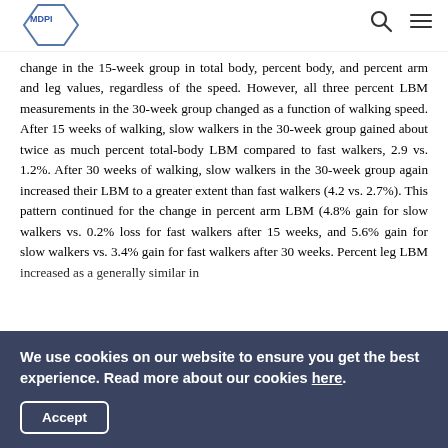MDPI
change in the 15-week group in total body, percent body, and percent arm and leg values, regardless of the speed. However, all three percent LBM measurements in the 30-week group changed as a function of walking speed. After 15 weeks of walking, slow walkers in the 30-week group gained about twice as much percent total-body LBM compared to fast walkers, 2.9 vs. 1.2%. After 30 weeks of walking, slow walkers in the 30-week group again increased their LBM to a greater extent than fast walkers (4.2 vs. 2.7%). This pattern continued for the change in percent arm LBM (4.8% gain for slow walkers vs. 0.2% loss for fast walkers after 15 weeks, and 5.6% gain for slow walkers vs. 3.4% gain for fast walkers after 30 weeks. Percent leg LBM increased as a generally similar...
We use cookies on our website to ensure you get the best experience. Read more about our cookies here. Accept